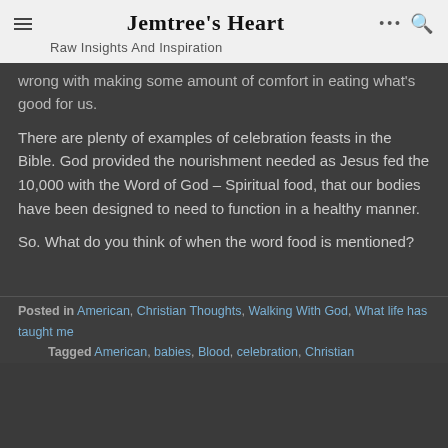Jemtree's Heart — Raw Insights And Inspiration
wrong with making some amount of comfort in eating what's good for us.
There are plenty of examples of celebration feasts in the Bible. God provided the nourishment needed as Jesus fed the 10,000 with the Word of God – Spiritual food, that our bodies have been designed to need to function in a healthy manner.
So. What do you think of when the word food is mentioned?
Posted in American, Christian Thoughts, Walking With God, What life has taught me — Tagged American, babies, Blood, celebration, Christian